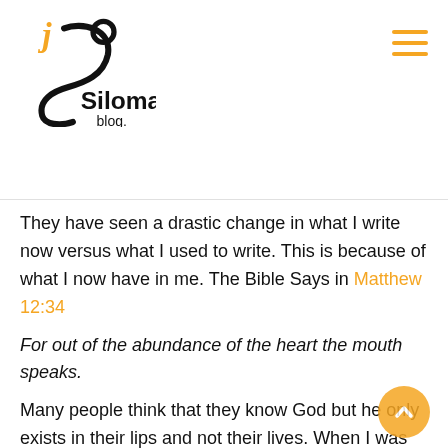[Figure (logo): Siloma Blog logo — stylized black swirl with orange 'j' accent and text 'Siloma blog.']
They have seen a drastic change in what I write now versus what I used to write. This is because of what I now have in me. The Bible Says in Matthew 12:34
For out of the abundance of the heart the mouth speaks.
Many people think that they know God but he only exists in their lips and not their lives. When I was young, I used to ask myself why most poor people are in Church and the rich ones are not anywhere near the Church. The world taught me that God loves humility and that humility comes poverty. That's not the case, you can read why.
Religion taught me that the rich are devil worshippers and